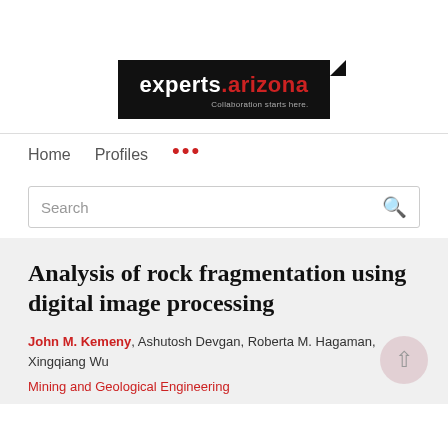[Figure (logo): experts.arizona logo — white text on black background with tagline 'Collaboration starts here.']
Home   Profiles   ...
Search
Analysis of rock fragmentation using digital image processing
John M. Kemeny, Ashutosh Devgan, Roberta M. Hagaman, Xingqiang Wu
Mining and Geological Engineering